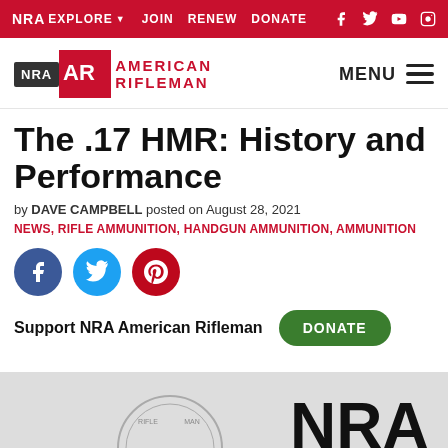NRA EXPLORE  JOIN  RENEW  DONATE
[Figure (logo): NRA American Rifleman logo with menu button]
The .17 HMR: History and Performance
by DAVE CAMPBELL posted on August 28, 2021
NEWS, RIFLE AMMUNITION, HANDGUN AMMUNITION, AMMUNITION
[Figure (illustration): Social share icons: Facebook, Twitter, Pinterest]
Support NRA American Rifleman  DONATE
[Figure (photo): Partial NRA logo image at bottom of page]